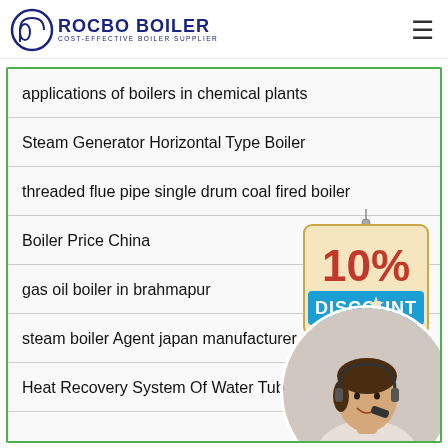ROCBO BOILER - COST-EFFECTIVE BOILER SUPPLIER
applications of boilers in chemical plants
Steam Generator Horizontal Type Boiler
threaded flue pipe single drum coal fired boiler
Boiler Price China
gas oil boiler in brahmapur
steam boiler Agent japan manufacturer
Heat Recovery System Of Water Tube B...
[Figure (illustration): 10% DISCOUNT hanging sign badge]
[Figure (photo): Customer service representative woman with headset in circular crop]